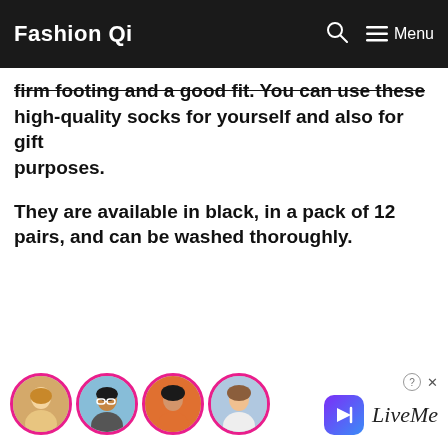Fashion Qi
firm footing and a good fit. You can use these high-quality socks for yourself and also for gift purposes.
They are available in black, in a pack of 12 pairs, and can be washed thoroughly.
[Figure (other): LiveMe advertisement banner with four circular avatar photos and LiveMe logo]